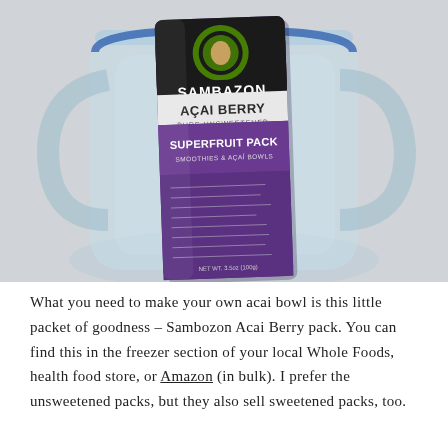[Figure (photo): Photo of a Sambazon Açaí Berry Pure Unsweetened Superfruit Pack sitting inside a clear plastic blender pitcher on a white surface. The packet is purple with green branding.]
What you need to make your own acai bowl is this little packet of goodness – Sambozon Acai Berry pack. You can find this in the freezer section of your local Whole Foods, health food store, or Amazon (in bulk). I prefer the unsweetened packs, but they also sell sweetened packs, too.